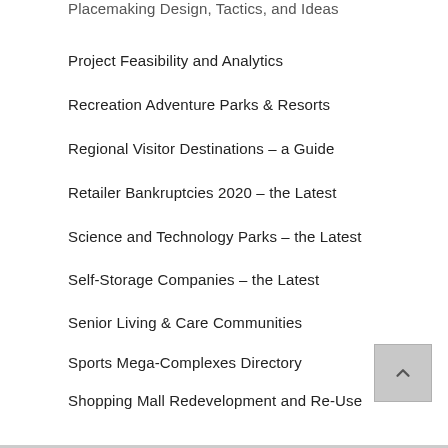Placemaking Design, Tactics, and Ideas
Project Feasibility and Analytics
Recreation Adventure Parks & Resorts
Regional Visitor Destinations – a Guide
Retailer Bankruptcies 2020 – the Latest
Science and Technology Parks – the Latest
Self-Storage Companies – the Latest
Senior Living & Care Communities
Sports Mega-Complexes Directory
Shopping Mall Redevelopment and Re-Use
Sovereign Wealth Funds – the List
Themed Restaurants and Clubs Era
Workforce Housing Developers